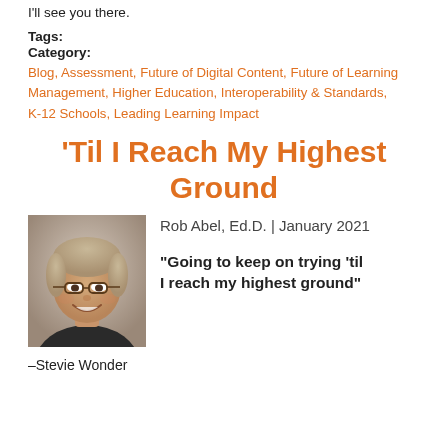I'll see you there.
Tags:
Category:
Blog, Assessment, Future of Digital Content, Future of Learning Management, Higher Education, Interoperability & Standards, K-12 Schools, Leading Learning Impact
'Til I Reach My Highest Ground
Rob Abel, Ed.D. | January 2021
[Figure (photo): Headshot of Rob Abel, Ed.D., a smiling middle-aged man with glasses wearing a dark shirt, against a light background.]
"Going to keep on trying 'til I reach my highest ground"
–Stevie Wonder